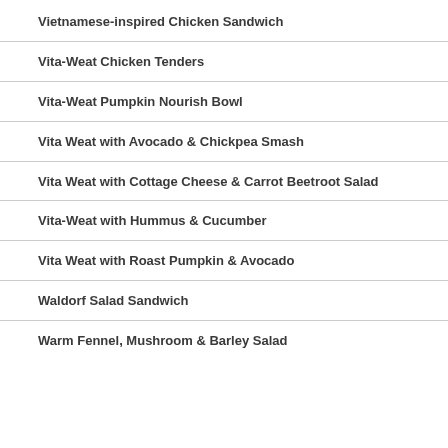Vietnamese-inspired Chicken Sandwich
Vita-Weat Chicken Tenders
Vita-Weat Pumpkin Nourish Bowl
Vita Weat with Avocado & Chickpea Smash
Vita Weat with Cottage Cheese & Carrot Beetroot Salad
Vita-Weat with Hummus & Cucumber
Vita Weat with Roast Pumpkin & Avocado
Waldorf Salad Sandwich
Warm Fennel, Mushroom & Barley Salad